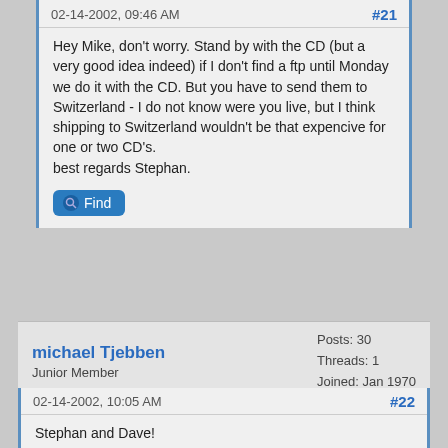02-14-2002, 09:46 AM
#21
Hey Mike, don't worry. Stand by with the CD (but a very good idea indeed) if I don't find a ftp until Monday we do it with the CD. But you have to send them to Switzerland - I do not know were you live, but I think shipping to Switzerland wouldn't be that expencive for one or two CD's.
best regards Stephan.
Find
michael Tjebben
Junior Member
Posts: 30
Threads: 1
Joined: Jan 1970
02-14-2002, 10:05 AM
#22
Stephan and Dave!

I found the original .jpegs that I made the .pdf's from! They were more compact than the .tiff's (which I didn't save).